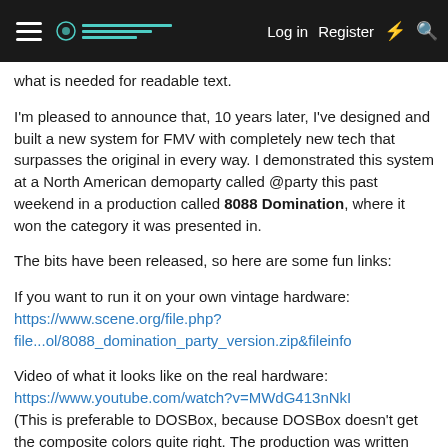≡ [logo] Log in  Register  ⚡  🔍
what is needed for readable text.
I'm pleased to announce that, 10 years later, I've designed and built a new system for FMV with completely new tech that surpasses the original in every way. I demonstrated this system at a North American demoparty called @party this past weekend in a production called 8088 Domination, where it won the category it was presented in.
The bits have been released, so here are some fun links:
If you want to run it on your own vintage hardware:
https://www.scene.org/file.php?file...ol/8088_domination_party_version.zip&fileinfo
Video of what it looks like on the real hardware:
https://www.youtube.com/watch?v=MWdG413nNkI
(This is preferable to DOSBox, because DOSBox doesn't get the composite colors quite right. The production was written